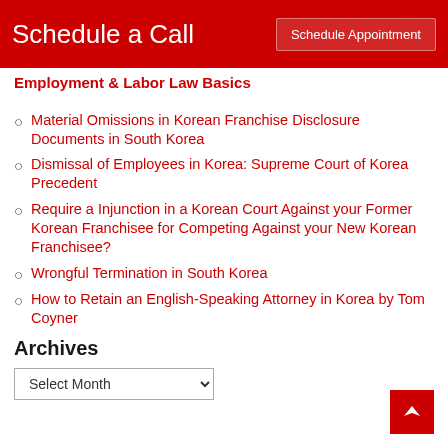Schedule a Call
Employment & Labor Law Basics
Material Omissions in Korean Franchise Disclosure Documents in South Korea
Dismissal of Employees in Korea: Supreme Court of Korea Precedent
Require a Injunction in a Korean Court Against your Former Korean Franchisee for Competing Against your New Korean Franchisee?
Wrongful Termination in South Korea
How to Retain an English-Speaking Attorney in Korea by Tom Coyner
Archives